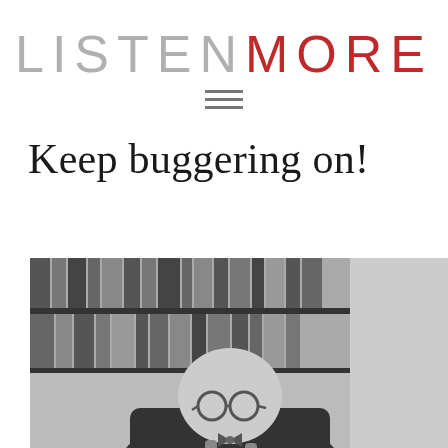LISTENMORE
[Figure (illustration): Hamburger/menu icon with three horizontal bars]
Keep buggering on!
[Figure (photo): Black and white photograph of an elderly bespectacled man in a suit and bow tie leaning over what appears to be a podium or desk, with bookshelves visible in the background]